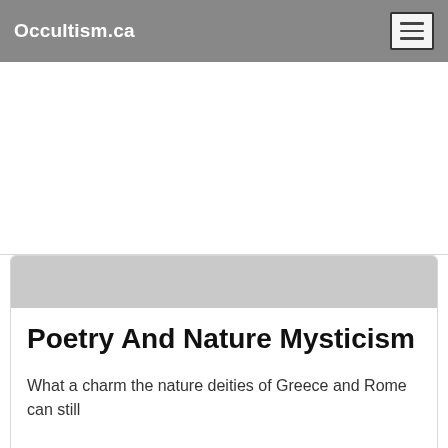Occultism.ca
[Figure (other): Advertisement banner area (blank white space)]
Poetry And Nature Mysticism
What a charm the nature deities of Greece and Rome can still
exercise! How large the place they still occupy in poetry, art,